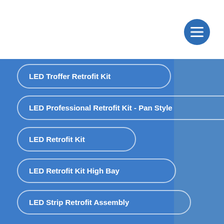[Figure (screenshot): Menu button (hamburger icon) in dark blue circle on white top bar]
LED Troffer Retrofit Kit
LED Professional Retrofit Kit - Pan Style
LED Retrofit Kit
LED Retrofit Kit High Bay
LED Strip Retrofit Assembly